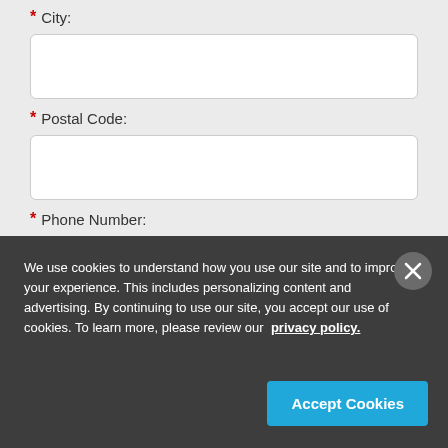* City:
* Postal Code:
* Phone Number:
We use cookies to understand how you use our site and to improve your experience. This includes personalizing content and advertising. By continuing to use our site, you accept our use of cookies. To learn more, please review our privacy policy.